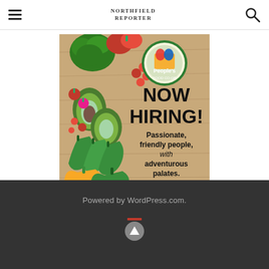≡  [Northfield Reporter logo]  🔍
[Figure (illustration): People's Food Co-op advertisement: 'NOW HIRING! Passionate, friendly people, with adventurous palates. APPLY TODAY!' with photo of fresh vegetables on wood background and circular People's Food Co-op logo.]
Powered by WordPress.com.